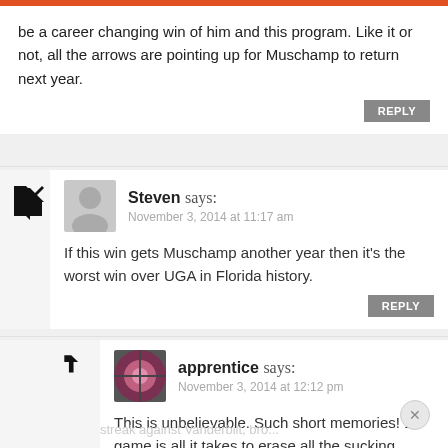be a career changing win of him and this program. Like it or not, all the arrows are pointing up for Muschamp to return next year.
Steven says:
November 3, 2014 at 11:17 am
If this win gets Muschamp another year then it's the worst win over UGA in Florida history.
apprentice says:
November 3, 2014 at 12:12 pm
This is unbelievable. Such short memories! 1 game is all it takes to erase all the sucking Muschamp has done in his time at Florida:
streak against Vanderbilt, bro...